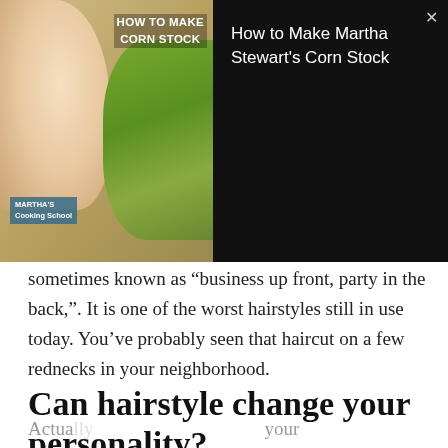[Figure (screenshot): Advertisement banner for 'How to Make Martha Stewart's Corn Stock' showing Martha Stewart and corn imagery on dark background with video player interface]
sometimes known as “business up front, party in the back,”. It is one of the worst hairstyles still in use today. You’ve probably seen that haircut on a few rednecks in your neighborhood.
Can hairstyle change your personality?
[Figure (screenshot): Hot Topic advertisement for 'A Nightmare on Elm Street' merchandise overlay on article, partially obscuring article text 'Actually' and 'person' and 'girls', with a SHOP NOW button and horror movie imagery on dark red background]
Actually [obscured] your person[ality obscured] girls